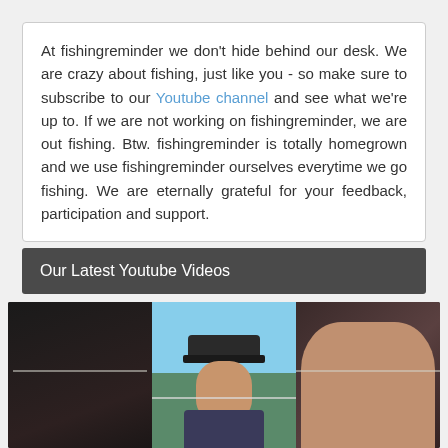At fishingreminder we don't hide behind our desk. We are crazy about fishing, just like you - so make sure to subscribe to our Youtube channel and see what we're up to. If we are not working on fishingreminder, we are out fishing. Btw. fishingreminder is totally homegrown and we use fishingreminder ourselves everytime we go fishing. We are eternally grateful for your feedback, participation and support.
Our Latest Youtube Videos
[Figure (photo): Three-panel video thumbnail collage showing fishing-related video content: left panel shows dark close-up, center panel shows a man in a cap outdoors holding fishing line, right panel shows a close-up face]